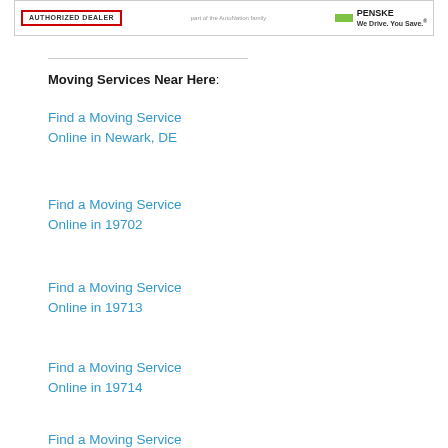[Figure (other): Banner with Authorized Dealer logo on left, center text, and Penske 'We Drive. You Save.' logo on right]
Moving Services Near Here:
Find a Moving Service Online in Newark, DE
Find a Moving Service Online in 19702
Find a Moving Service Online in 19713
Find a Moving Service Online in 19714
Find a Moving Service Online in Newark, OH